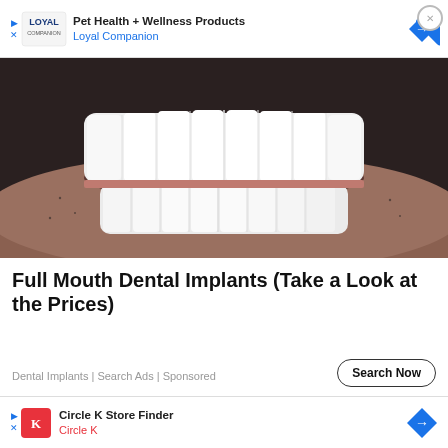[Figure (infographic): Top advertisement banner: Loyal Companion pet health and wellness products ad with play/close icons, logo, and blue diamond arrow icon]
[Figure (photo): Close-up photo of a man's mouth showing bright white dental implants/teeth with stubble visible]
Full Mouth Dental Implants (Take a Look at the Prices)
Dental Implants | Search Ads | Sponsored
[Figure (infographic): Search Now button with rounded border]
[Figure (photo): Close-up photo of a woman's eyes and face with a gloved hand near her face, dental/medical context]
[Figure (infographic): Bottom advertisement banner: Circle K Store Finder ad with Circle K logo and blue diamond arrow icon]